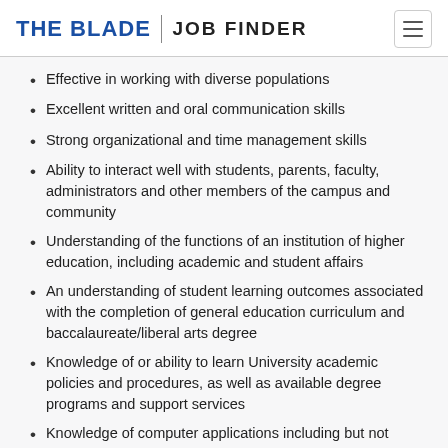THE BLADE | JOB FINDER
Effective in working with diverse populations
Excellent written and oral communication skills
Strong organizational and time management skills
Ability to interact well with students, parents, faculty, administrators and other members of the campus and community
Understanding of the functions of an institution of higher education, including academic and student affairs
An understanding of student learning outcomes associated with the completion of general education curriculum and baccalaureate/liberal arts degree
Knowledge of or ability to learn University academic policies and procedures, as well as available degree programs and support services
Knowledge of computer applications including but not limited to: Microsoft Office, Microsoft Outlook, People Soft (CCS) and...